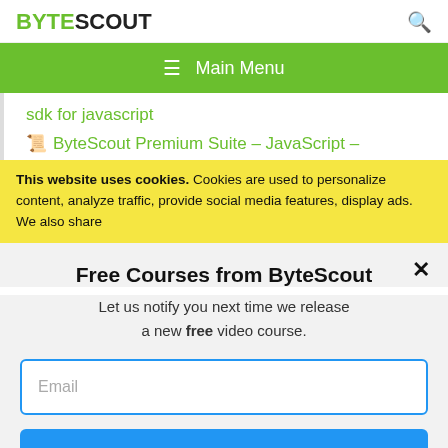BYTESCOUT
≡ Main Menu
sdk for javascript
🗒 ByteScout Premium Suite – JavaScript –
This website uses cookies. Cookies are used to personalize content, analyze traffic, provide social media features, display ads. We also share
Free Courses from ByteScout
Let us notify you next time we release a new free video course.
Email
SUBSCRIBE